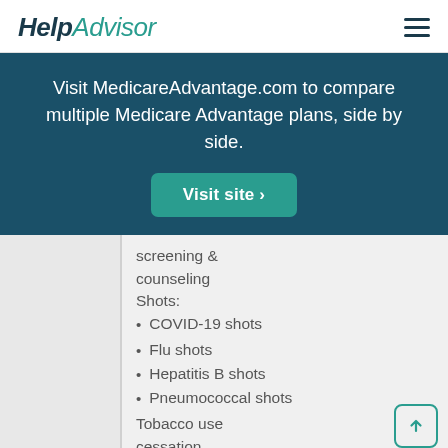HelpAdvisor
Visit MedicareAdvantage.com to compare multiple Medicare Advantage plans, side by side.
Visit site >
screening & counseling
Shots:
COVID-19 shots
Flu shots
Hepatitis B shots
Pneumococcal shots
Tobacco use cessation